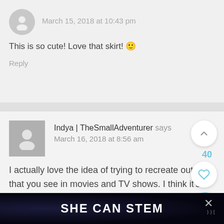March 15, 2018 at 10:43 pm
This is so cute! Love that skirt! 🙂
Reply
Indya | TheSmallAdventurer says
March 16, 2018 at 8:56 am
I actually love the idea of trying to recreate outfits that you see in movies and TV shows. I think it's such a fun way to be
SHE CAN STEM